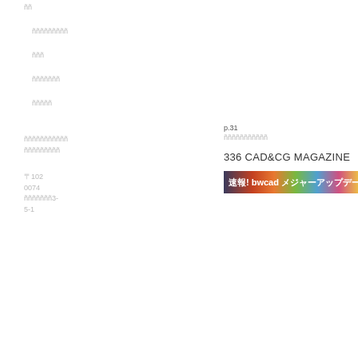ññ
ñññññññññ
ñññ
ñññññññ
ñññññ
ñññññññññññ ñññññññññ
〒102 0074 ñññññññ3-5-1
p.31
ñññññññññññ
336 CAD&CG MAGAZINE
[Figure (illustration): Banner image with colorful background and Japanese text: 速報! bwcad メジャーアップデー]